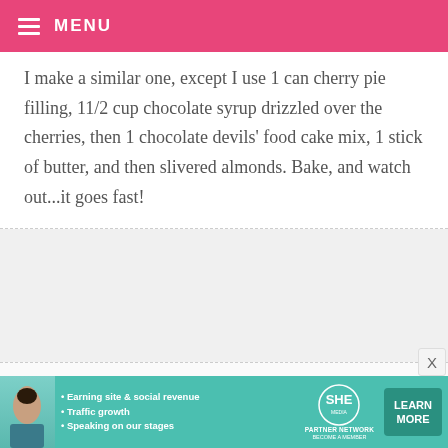MENU
I make a similar one, except I use 1 can cherry pie filling, 11/2 cup chocolate syrup drizzled over the cherries, then 1 chocolate devils' food cake mix, 1 stick of butter, and then slivered almonds. Bake, and watch out...it goes fast!
MEGACRAFTY — JANUARY 29, 2010 @ 5:12 PM
REPLY
YUM.
[Figure (infographic): SHE Partner Network advertisement banner with photo of woman, bullet points about earning site & social revenue, traffic growth, speaking on stages, SHE logo, and LEARN MORE button]